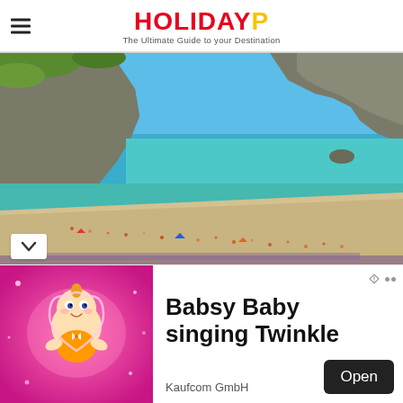HOLIDAYP — The Ultimate Guide to your Destination
[Figure (photo): Aerial view of a sandy beach cove with turquoise water, rocky cliffs covered in green vegetation, and many beachgoers sunbathing and swimming. Appears to be a Cornish beach on a sunny summer day.]
[Figure (photo): Advertisement banner: left side shows a colorful animated baby character (Babsy Baby) on a pink sparkly background. Right side shows text 'Babsy Baby singing Twinkle' with an 'Open' button and 'Kaufcom GmbH' branding. Two ad attribution dots visible.]